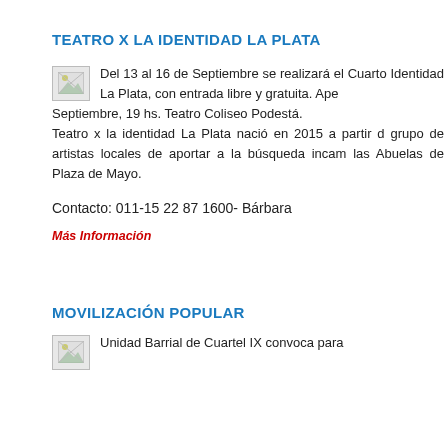TEATRO X LA IDENTIDAD LA PLATA
[Figure (illustration): Small broken image placeholder icon]
Del 13 al 16 de Septiembre se realizará el Cuarto Identidad La Plata, con entrada libre y gratuita. Ape Septiembre, 19 hs. Teatro Coliseo Podestá.
Teatro x la identidad La Plata nació en 2015 a partir d grupo de artistas locales de aportar a la búsqueda incam las Abuelas de Plaza de Mayo.
Contacto: 011-15 22 87 1600- Bárbara
Más Información
MOVILIZACIÓN POPULAR
[Figure (illustration): Small broken image placeholder icon]
Unidad Barrial de Cuartel IX convoca para